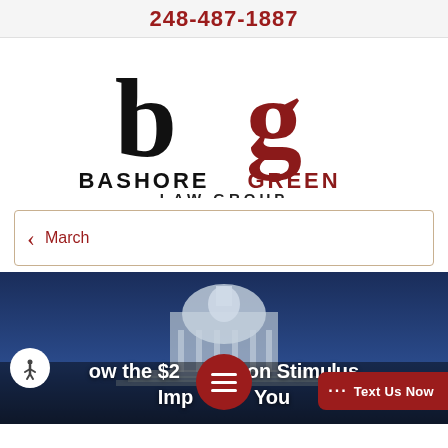248-487-1887
[Figure (logo): Bashore Green Law Group logo with stylized 'bg' monogram in black and dark red, with firm name below]
March
[Figure (photo): Photo of US Capitol building with blue sky background. Overlaid text reads: 'How the $2 [Trillion] Stimulus [Will] Impact You'. Accessibility button, hamburger menu button, and 'Text Us Now' button are overlaid.]